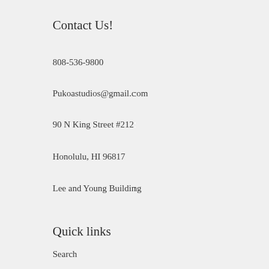Contact Us!
808-536-9800
Pukoastudios@gmail.com
90 N King Street #212
Honolulu, HI 96817
Lee and Young Building
Quick links
Search
Privacy Policy